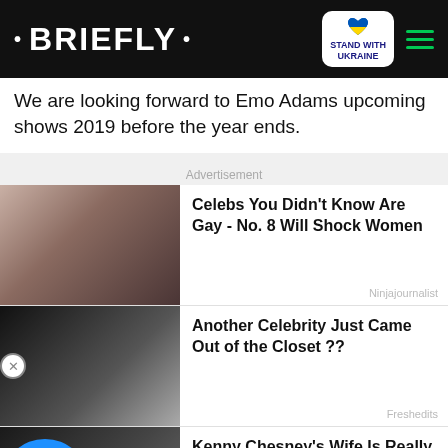• BRIEFLY •
We are looking forward to Emo Adams upcoming shows 2019 before the year ends.
Advertisement
[Figure (photo): Two men about to kiss, close-up photo]
Celebs You Didn't Know Are Gay - No. 8 Will Shock Women
Ninjajournalist
[Figure (photo): Black and white photo of two women kissing]
Another Celebrity Just Came Out of the Closet ??
Freshedits
[Figure (photo): Video thumbnail: A Kiss Could Ruin Her Career, two women in formal wear with pink star decorations]
Kenny Chesney's Wife Is Really Stunning
Ninjajournalist
[Figure (photo): Download Helbiz and ride - bottom banner advertisement with scooter image]